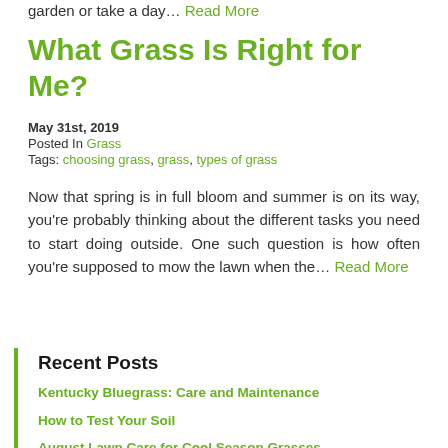garden or take a day… Read More
What Grass Is Right for Me?
May 31st, 2019
Posted In Grass
Tags: choosing grass, grass, types of grass
Now that spring is in full bloom and summer is on its way, you're probably thinking about the different tasks you need to start doing outside. One such question is how often you're supposed to mow the lawn when the… Read More
Recent Posts
Kentucky Bluegrass: Care and Maintenance
How to Test Your Soil
August Lawn Care for Cool Season Grasses